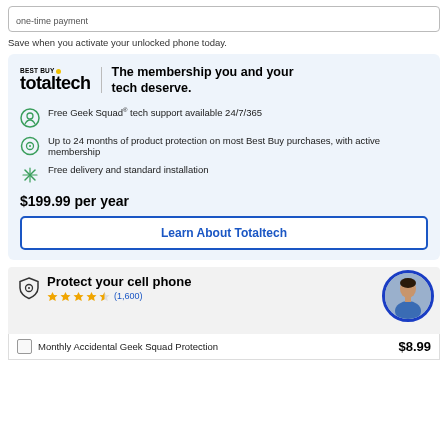one-time payment
Save when you activate your unlocked phone today.
[Figure (infographic): Best Buy Totaltech membership advertisement with logo, tagline 'The membership you and your tech deserve.', three benefit icons and text, price $199.99 per year, and 'Learn About Totaltech' button on light blue background.]
Protect your cell phone
★★★★½ (1,600)
Monthly Accidental Geek Squad Protection
$8.99